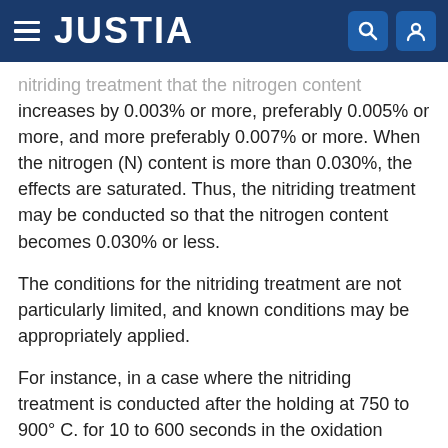JUSTIA
nitriding treatment that the nitrogen content increases by 0.003% or more, preferably 0.005% or more, and more preferably 0.007% or more. When the nitrogen (N) content is more than 0.030%, the effects are saturated. Thus, the nitriding treatment may be conducted so that the nitrogen content becomes 0.030% or less.
The conditions for the nitriding treatment are not particularly limited, and known conditions may be appropriately applied.
For instance, in a case where the nitriding treatment is conducted after the holding at 750 to 900° C. for 10 to 600 seconds in the oxidation degree (PH₂O/PH₂) of 0.01 to 0.15, the nitriding treatment may be conducted such that the cold rolled steel sheet is not cooled to the room temperature but held in the cooling stage in the